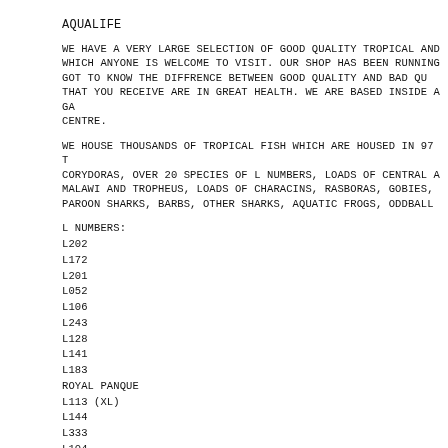AQUALIFE
WE HAVE A VERY LARGE SELECTION OF GOOD QUALITY TROPICAL AND WHICH ANYONE IS WELCOME TO VISIT. OUR SHOP HAS BEEN RUNNING GOT TO KNOW THE DIFFRENCE BETWEEN GOOD QUALITY AND BAD QU THAT YOU RECEIVE ARE IN GREAT HEALTH. WE ARE BASED INSIDE A GA CENTRE.
WE HOUSE THOUSANDS OF TROPICAL FISH WHICH ARE HOUSED IN 97 T CORYDORAS, OVER 20 SPECIES OF L NUMBERS, LOADS OF CENTRAL A MALAWI AND TROPHEUS, LOADS OF CHARACINS, RASBORAS, GOBIES, PAROON SHARKS, BARBS, OTHER SHARKS, AQUATIC FROGS, ODDBALL
L NUMBERS:
L202
L172
L201
L052
L106
L243
L128
L141
L183
ROYAL PANQUE
L113 (XL)
L144
L333
L104
LDA19